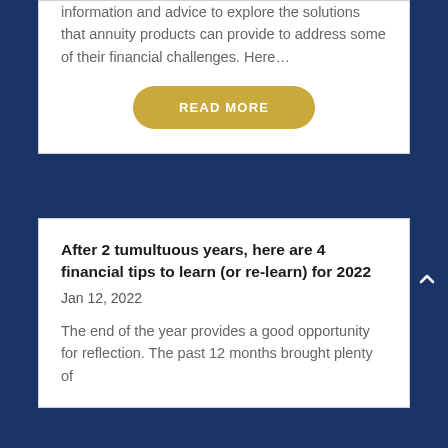information and advice to explore the solutions that annuity products can provide to address some of their financial challenges. Here…
READ MORE
After 2 tumultuous years, here are 4 financial tips to learn (or re-learn) for 2022
Jan 12, 2022
The end of the year provides a good opportunity for reflection. The past 12 months brought plenty of